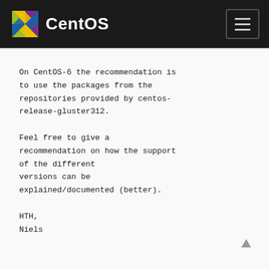CentOS
On CentOS-6 the recommendation is to use the packages from the repositories provided by centos-release-gluster312.
Feel free to give a recommendation on how the support of the different versions can be explained/documented (better).
HTH,
Niels